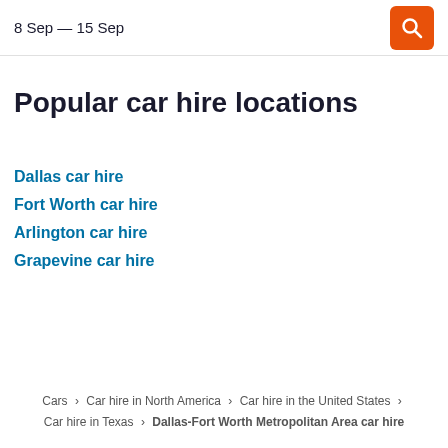8 Sep — 15 Sep
Popular car hire locations
Dallas car hire
Fort Worth car hire
Arlington car hire
Grapevine car hire
Cars › Car hire in North America › Car hire in the United States › Car hire in Texas › Dallas-Fort Worth Metropolitan Area car hire